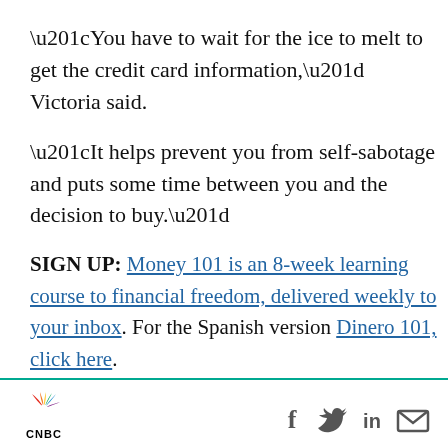“You have to wait for the ice to melt to get the credit card information,” Victoria said.
“It helps prevent you from self-sabotage and puts some time between you and the decision to buy.”
SIGN UP: Money 101 is an 8-week learning course to financial freedom, delivered weekly to your inbox. For the Spanish version Dinero 101, click here.
CHECK OUT: 74-year-old retiree is now a model: ‘You don’t have to fade into the background’ with Acorns+CNBC
CNBC logo with social icons: Facebook, Twitter, LinkedIn, Email